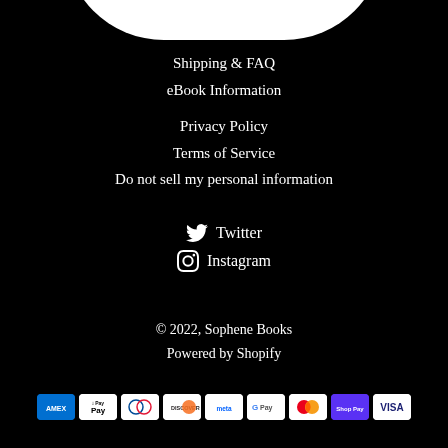Shipping & FAQ
eBook Information
Privacy Policy
Terms of Service
Do not sell my personal information
Twitter
Instagram
© 2022, Sophene Books
Powered by Shopify
[Figure (other): Payment method icons: American Express, Apple Pay, Diners Club, Discover, Meta Pay, Google Pay, Mastercard, Shop Pay, Visa]